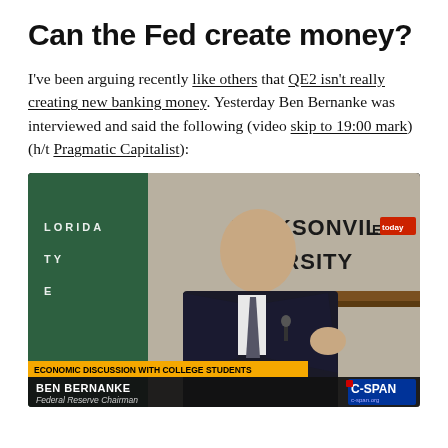Can the Fed create money?
I've been arguing recently like others that QE2 isn't really creating new banking money. Yesterday Ben Bernanke was interviewed and said the following (video skip to 19:00 mark) (h/t Pragmatic Capitalist):
[Figure (photo): C-SPAN video screenshot of Ben Bernanke, Federal Reserve Chairman, speaking at an Economic Discussion with College Students at Jacksonville University, Florida. Lower third shows: 'ECONOMIC DISCUSSION WITH COLLEGE STUDENTS', 'BEN BERNANKE', 'Federal Reserve Chairman', and C-SPAN logo.]